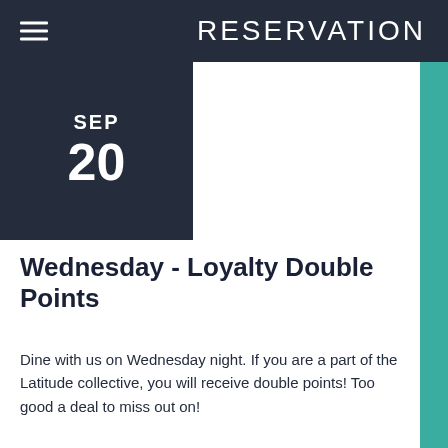RESERVATION
SEP
20
Wednesday - Loyalty Double Points
Dine with us on Wednesday night. If you are a part of the Latitude collective, you will receive double points! Too good a deal to miss out on!